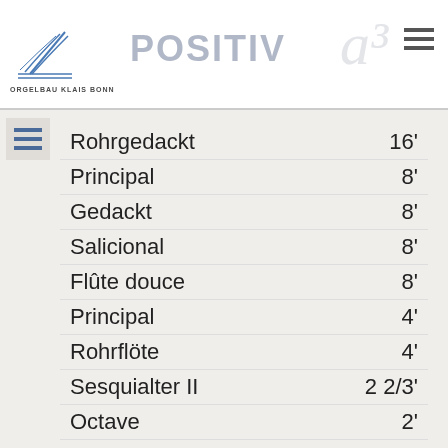ORGELBAU KLAIS BONN — POSITIV
Rohrgedackt  16'
Principal  8'
Gedackt  8'
Salicional  8'
Flûte douce  8'
Principal  4'
Rohrflöte  4'
Sesquialter II  2 2/3'
Octave  2'
Quinte  1 1/3'
Mixtur IV  1 1/3'
Horn  8'